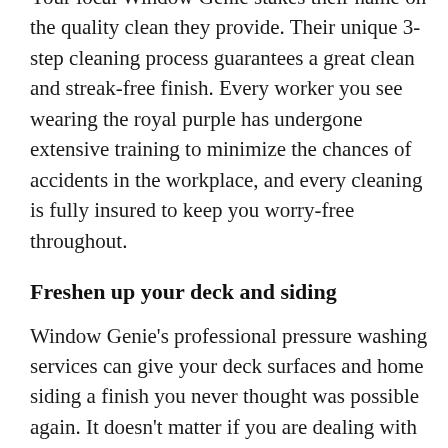Your local Window Genie stakes their name on the quality clean they provide. Their unique 3-step cleaning process guarantees a great clean and streak-free finish. Every worker you see wearing the royal purple has undergone extensive training to minimize the chances of accidents in the workplace, and every cleaning is fully insured to keep you worry-free throughout.
Freshen up your deck and siding
Window Genie's professional pressure washing services can give your deck surfaces and home siding a finish you never thought was possible again. It doesn't matter if you are dealing with vinyl, stucco, or painted wooden siding; Window Genie pressure washing services will blast away the considerable amounts of dirt, salt, and grime that accumulates on your home over time. The results are stunning, as our customers have testified.
Window Genie experts advise against renting your own pressure washers. Many people have been horrified after